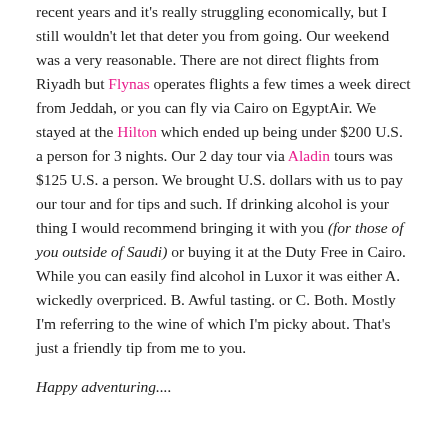recent years and it's really struggling economically, but I still wouldn't let that deter you from going. Our weekend was a very reasonable. There are not direct flights from Riyadh but Flynas operates flights a few times a week direct from Jeddah, or you can fly via Cairo on EgyptAir. We stayed at the Hilton which ended up being under $200 U.S. a person for 3 nights. Our 2 day tour via Aladin tours was $125 U.S. a person. We brought U.S. dollars with us to pay our tour and for tips and such. If drinking alcohol is your thing I would recommend bringing it with you (for those of you outside of Saudi) or buying it at the Duty Free in Cairo. While you can easily find alcohol in Luxor it was either A. wickedly overpriced. B. Awful tasting. or C. Both. Mostly I'm referring to the wine of which I'm picky about. That's just a friendly tip from me to you.
Happy adventuring....